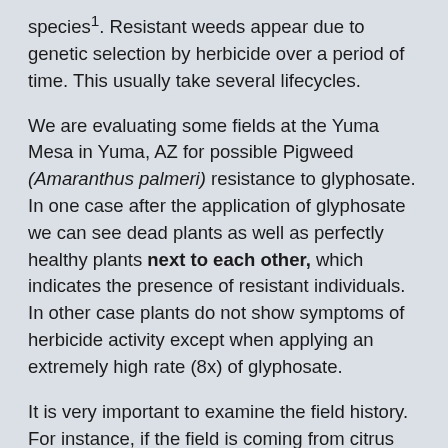species¹. Resistant weeds appear due to genetic selection by herbicide over a period of time. This usually take several lifecycles.
We are evaluating some fields at the Yuma Mesa in Yuma, AZ for possible Pigweed (Amaranthus palmeri) resistance to glyphosate. In one case after the application of glyphosate we can see dead plants as well as perfectly healthy plants next to each other, which indicates the presence of resistant individuals. In other case plants do not show symptoms of herbicide activity except when applying an extremely high rate (8x) of glyphosate.
It is very important to examine the field history. For instance, if the field is coming from citrus and only glyphosate was used frequently it is possible you inherited the problem of weed resistance. Will continue with our evaluations and keep you informed of our findings.